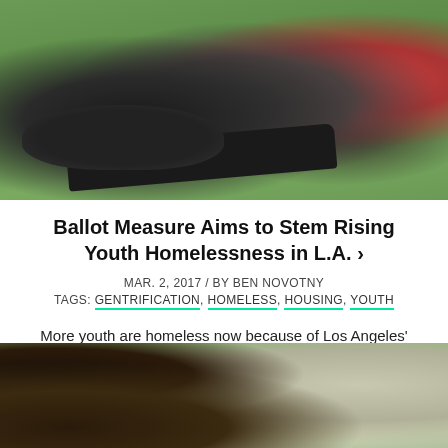[Figure (photo): A homeless person sitting on grass outdoors, with a skateboard in front of them and a red bag with a dog nearby]
Ballot Measure Aims to Stem Rising Youth Homelessness in L.A. ›
MAR. 2, 2017 / BY BEN NOVOTNY
TAGS: GENTRIFICATION, HOMELESS, HOUSING, YOUTH
More youth are homeless now because of Los Angeles' rising cost of living. Can Measure H help?
[Figure (photo): Outdoor scene with trees and buildings in the background, likely a park or urban green space in Los Angeles]